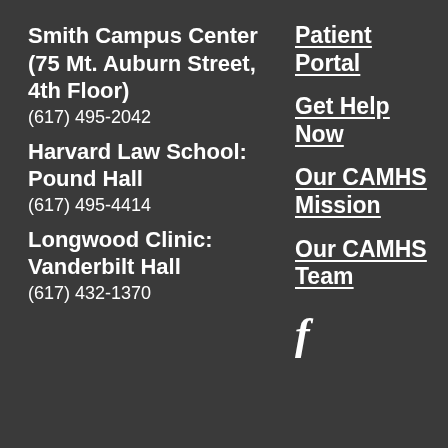Smith Campus Center (75 Mt. Auburn Street, 4th Floor)
(617) 495-2042
Harvard Law School: Pound Hall
(617) 495-4414
Longwood Clinic: Vanderbilt Hall
(617) 432-1370
Patient Portal
Get Help Now
Our CAMHS Mission
Our CAMHS Team
[Figure (logo): Facebook icon (letter f)]